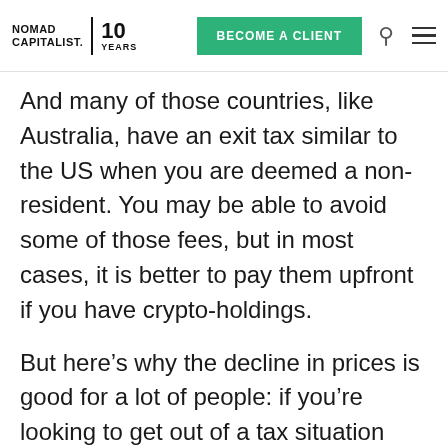NOMAD CAPITALIST. 10 YEARS | BECOME A CLIENT
And many of those countries, like Australia, have an exit tax similar to the US when you are deemed a non-resident. You may be able to avoid some of those fees, but in most cases, it is better to pay them upfront if you have crypto-holdings.
But here’s why the decline in prices is good for a lot of people: if you’re looking to get out of a tax situation and you’re priming yourself for big